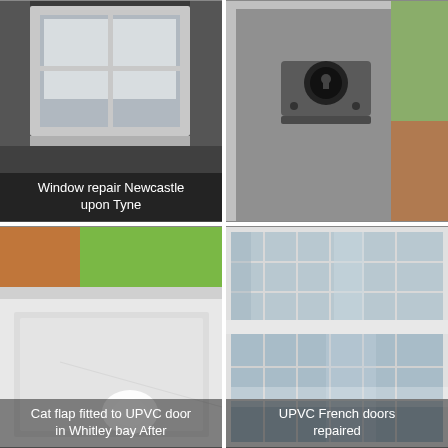[Figure (photo): Window with white UPVC frame, interior view, with text overlay 'Window repair Newcastle upon Tyne']
[Figure (photo): Close-up of a UPVC door/window lock mechanism with black cylinder lock]
[Figure (photo): UPVC door with green foliage visible through window and bright light at base, with text overlay 'Cat flap fitted to UPVC door in Whitley bay After']
[Figure (photo): UPVC French doors with grid-pattern glass panels reflecting interior, with text overlay 'UPVC French doors repaired']